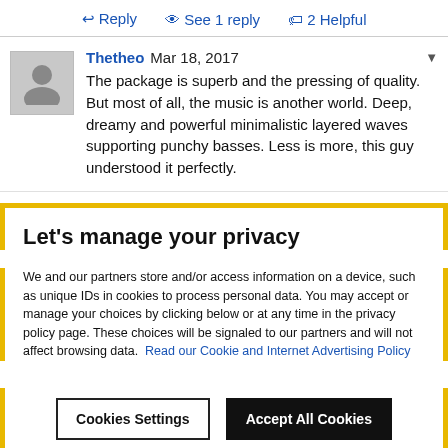↩ Reply   👁 See 1 reply   🏷 2 Helpful
Thetheo Mar 18, 2017
The package is superb and the pressing of quality. But most of all, the music is another world. Deep, dreamy and powerful minimalistic layered waves supporting punchy basses. Less is more, this guy understood it perfectly.
Let's manage your privacy
We and our partners store and/or access information on a device, such as unique IDs in cookies to process personal data. You may accept or manage your choices by clicking below or at any time in the privacy policy page. These choices will be signaled to our partners and will not affect browsing data. Read our Cookie and Internet Advertising Policy
Cookies Settings | Accept All Cookies